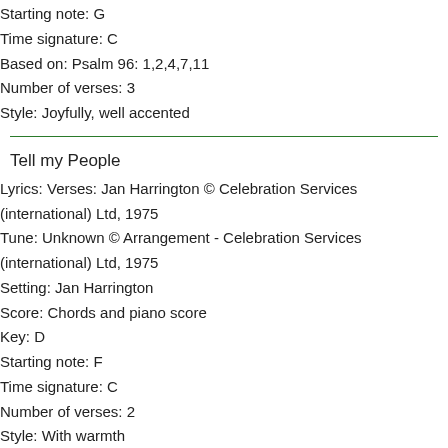Starting note: G
Time signature: C
Based on: Psalm 96: 1,2,4,7,11
Number of verses: 3
Style: Joyfully, well accented
Tell my People
Lyrics: Verses: Jan Harrington © Celebration Services (international) Ltd, 1975
Tune: Unknown © Arrangement - Celebration Services (international) Ltd, 1975
Setting: Jan Harrington
Score: Chords and piano score
Key: D
Starting note: F
Time signature: C
Number of verses: 2
Style: With warmth
Tell Out my Soul